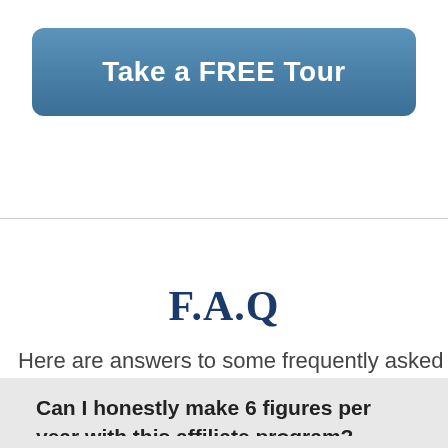[Figure (other): A blue rounded button labeled 'Take a FREE Tour']
Here are answers to some frequently asked
F.A.Q
Can I honestly make 6 figures per year with this affiliate program?
Can I add my own programs into the